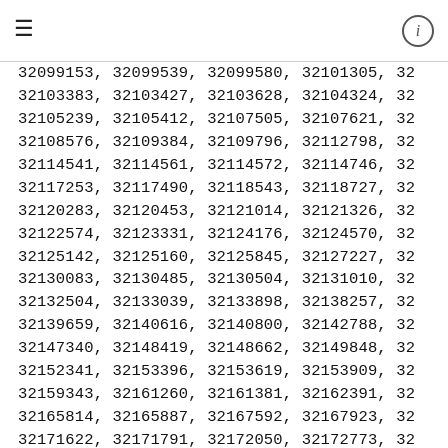≡   ⓘ
32099153, 32099539, 32099580, 32101305, 32...
32103383, 32103427, 32103628, 32104324, 32...
32105239, 32105412, 32107505, 32107621, 32...
32108576, 32109384, 32109796, 32112798, 32...
32114541, 32114561, 32114572, 32114746, 32...
32117253, 32117490, 32118543, 32118727, 32...
32120283, 32120453, 32121014, 32121326, 32...
32122574, 32123331, 32124176, 32124570, 32...
32125142, 32125160, 32125845, 32127227, 32...
32130083, 32130485, 32130504, 32131010, 32...
32132504, 32133039, 32133898, 32138257, 32...
32139659, 32140616, 32140800, 32142788, 32...
32147340, 32148419, 32148662, 32149848, 32...
32152341, 32153396, 32153619, 32153909, 32...
32159343, 32161260, 32161381, 32162391, 32...
32165814, 32165887, 32167592, 32167923, 32...
32171622, 32171791, 32172050, 32172773, 32...